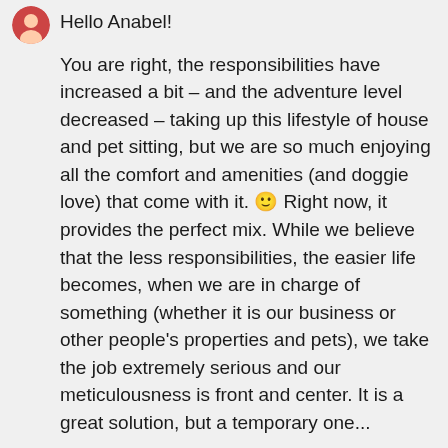[Figure (illustration): Small circular avatar icon in the top left corner, partially visible]
Hello Anabel!
You are right, the responsibilities have increased a bit – and the adventure level decreased – taking up this lifestyle of house and pet sitting, but we are so much enjoying all the comfort and amenities (and doggie love) that come with it. 🙂 Right now, it provides the perfect mix. While we believe that the less responsibilities, the easier life becomes, when we are in charge of something (whether it is our business or other people's properties and pets), we take the job extremely serious and our meticulousness is front and center. It is a great solution, but a temporary one...